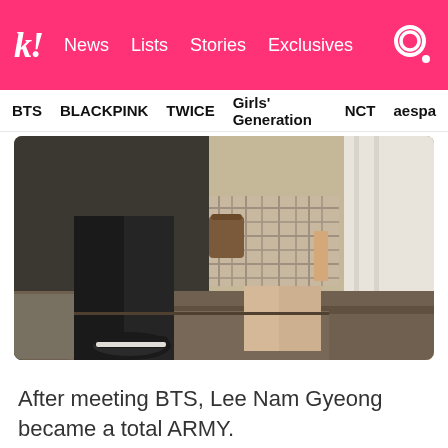k! News Lists Stories Exclusives
BTS BLACKPINK TWICE Girls' Generation NCT aespa
[Figure (photo): Photo showing lower bodies of two people standing together outdoors on wooden steps. One person wears all black with sneakers, the other wears a plaid/checkered short dress and holds a small brown bag. White curtain visible in background.]
After meeting BTS, Lee Nam Gyeong became a total ARMY.
[Figure (photo): Photo of a young Asian man with short dark hair, smiling, wearing earrings, against a light background.]